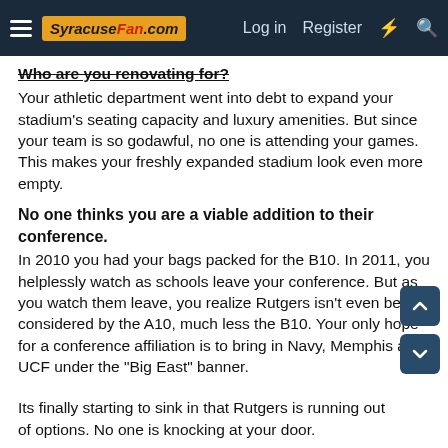SyracuseFan.com  Log in  Register
Who are you renovating for?
Your athletic department went into debt to expand your stadium's seating capacity and luxury amenities. But since your team is so godawful, no one is attending your games. This makes your freshly expanded stadium look even more empty.
No one thinks you are a viable addition to their conference.
In 2010 you had your bags packed for the B10. In 2011, you helplessly watch as schools leave your conference. But as you watch them leave, you realize Rutgers isn't even being considered by the A10, much less the B10. Your only hope for a conference affiliation is to bring in Navy, Memphis and UCF under the "Big East" banner.
Its finally starting to sink in that Rutgers is running out of options. No one is knocking at your door.